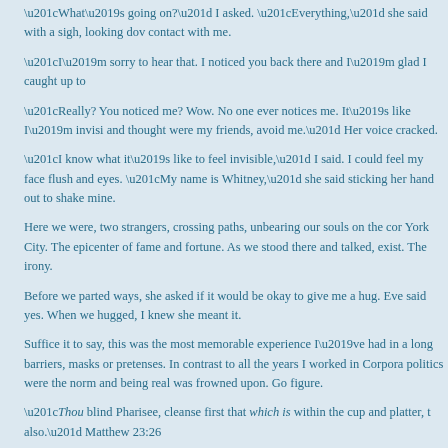“What’s going on?” I asked. “Everything,” she said with a sigh, looking dov contact with me.
“I’m sorry to hear that. I noticed you back there and I’m glad I caught up to
“Really? You noticed me? Wow. No one ever notices me. It’s like I’m invisi and thought were my friends, avoid me.” Her voice cracked.
“I know what it’s like to feel invisible,” I said. I could feel my face flush and eyes. “My name is Whitney,” she said sticking her hand out to shake mine.
Here we were, two strangers, crossing paths, unbearing our souls on the cor York City. The epicenter of fame and fortune. As we stood there and talked, exist. The irony.
Before we parted ways, she asked if it would be okay to give me a hug. Eve said yes. When we hugged, I knew she meant it.
Suffice it to say, this was the most memorable experience I’ve had in a long barriers, masks or pretenses. In contrast to all the years I worked in Corpora politics were the norm and being real was frowned upon. Go figure.
“Thou blind Pharisee, cleanse first that which is within the cup and platter, t also.” Matthew 23:26
“Do not ye yet understand, that whatsoever entereth in at the mouth goeth in draught?